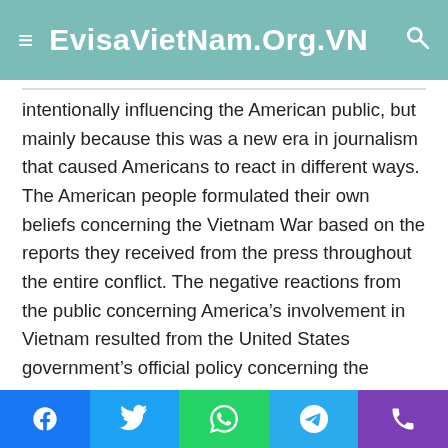EvisaVietNam.Org.VN
intentionally influencing the American public, but mainly because this was a new era in journalism that caused Americans to react in different ways. The American people formulated their own beliefs concerning the Vietnam War based on the reports they received from the press throughout the entire conflict. The negative reactions from the public concerning America’s involvement in Vietnam resulted from the United States government’s official policy concerning the spread of Communism through Southeast Asia. These reactions were not necessarily fueled by the press through influence or propaganda, but were the result of growing resentment by the American people concerning the staggering loss of American lives in the Vietnam War.
Social share buttons: Facebook, Twitter, WhatsApp, Telegram, Phone